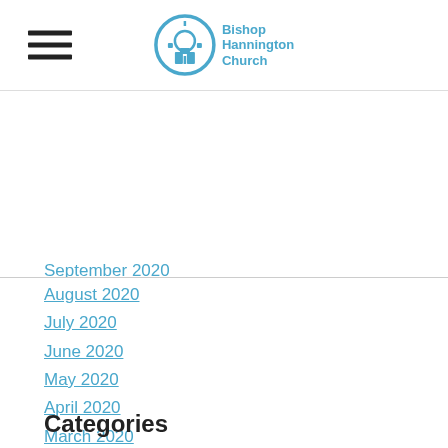[Figure (logo): Bishop Hannington Church logo with circular icon and text]
August 2020
July 2020
June 2020
May 2020
April 2020
March 2020
Categories
All
RSS Feed